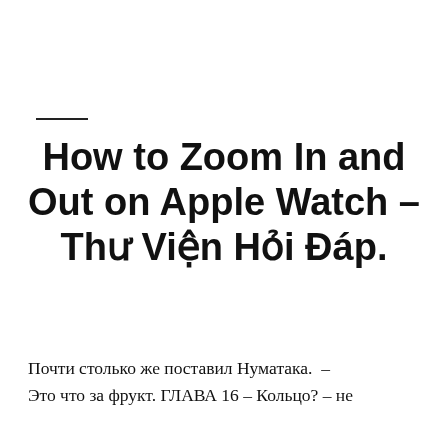How to Zoom In and Out on Apple Watch – Thư Viện Hỏi Đáp.
Почти столько же поставил Нуматака.  – Это что за фрукт. ГЛАВА 16 – Кольцо? – не